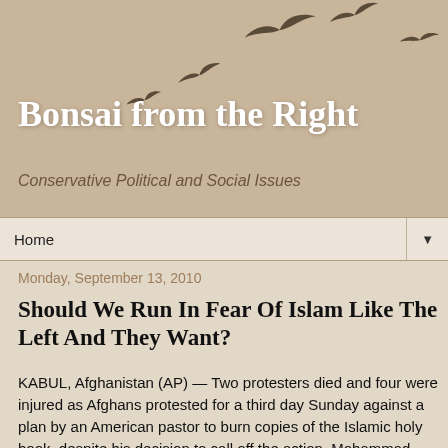Bonsai from the Right
Conservative Political and Social Issues
Home
Monday, September 13, 2010
Should We Run In Fear Of Islam Like The Left And They Want?
KABUL, Afghanistan (AP) — Two protesters died and four were injured as Afghans protested for a third day Sunday against a plan by an American pastor to burn copies of the Islamic holy book, despite his decision to call off the action. Mohammad Rahim Amin, chief of the Baraki Barak district in eastern Logar province, said the deaths and injuries